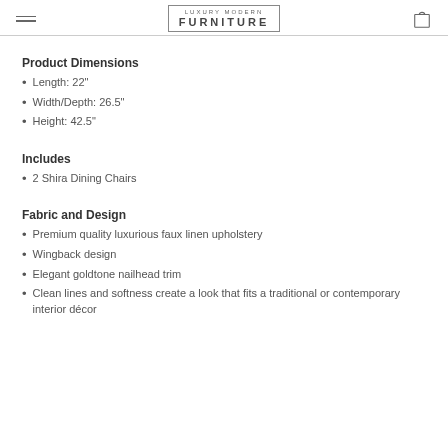LUXURY MODERN FURNITURE
Product Dimensions
Length: 22"
Width/Depth: 26.5"
Height: 42.5"
Includes
2 Shira Dining Chairs
Fabric and Design
Premium quality luxurious faux linen upholstery
Wingback design
Elegant goldtone nailhead trim
Clean lines and softness create a look that fits a traditional or contemporary interior décor